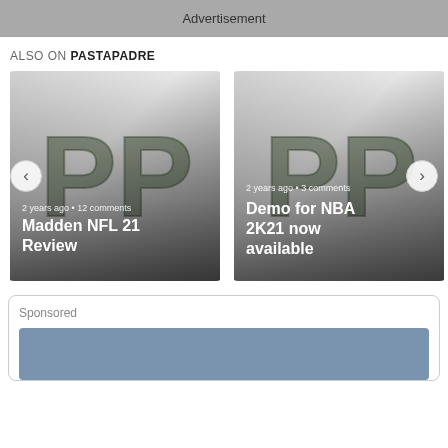Advertisement
ALSO ON PASTAPADRE
[Figure (screenshot): Carousel card showing PastaPadre logo background with text: 2 years ago • 12 comments / Madden NFL 21 Review]
[Figure (screenshot): Carousel card showing PastaPadre logo background with text: 2 years ago • 3 comments / Demo for NBA 2K21 now available]
Sponsored
[Figure (other): Sponsored advertisement image placeholder with blue-gray background]